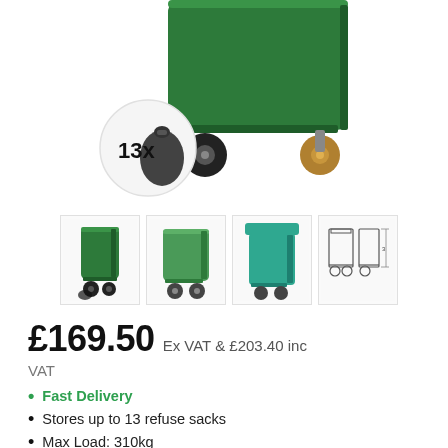[Figure (photo): Large green wheeled waste bin shown from below/side angle, with a circular inset showing 13x black refuse sacks]
[Figure (photo): Four thumbnail images of the green wheeled bin from different angles, plus a technical schematic drawing]
£169.50 Ex VAT & £203.40 inc VAT
Fast Delivery
Stores up to 13 refuse sacks
Max Load: 310kg
ISO & certificated